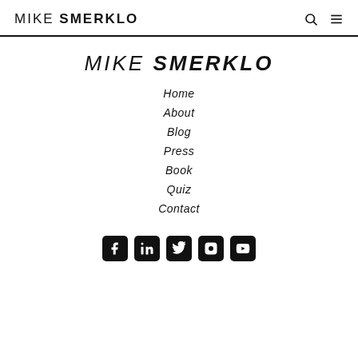MIKE SMERKLO
MIKE SMERKLO
Home
About
Blog
Press
Book
Quiz
Contact
[Figure (other): Social media icons: Facebook, LinkedIn, Twitter, Instagram, YouTube]